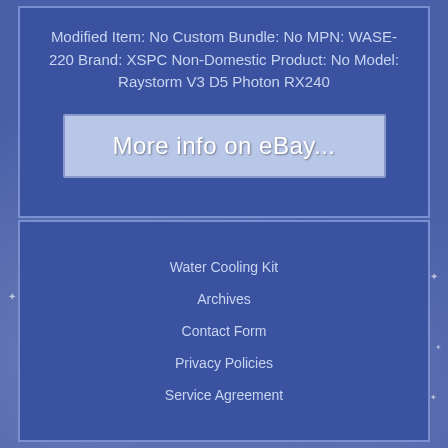Modified Item: No Custom Bundle: No MPN: WASE-220 Brand: XSPC Non-Domestic Product: No Model: Raystorm V3 D5 Photon RX240
[Figure (screenshot): Button with text 'More info on eBay...' on a light blue/grey background with border]
Water Cooling Kit
Archives
Contact Form
Privacy Policies
Service Agreement